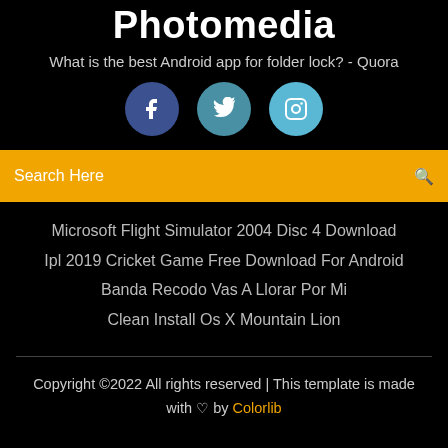Photomedia
What is the best Android app for folder lock? - Quora
[Figure (infographic): Three social media icon circles: Facebook (dark blue), Twitter (medium blue), Instagram (light blue)]
Search Here
Microsoft Flight Simulator 2004 Disc 4 Download
Ipl 2019 Cricket Game Free Download For Android
Banda Recodo Vas A Llorar Por Mi
Clean Install Os X Mountain Lion
Copyright ©2022 All rights reserved | This template is made with ♡ by Colorlib